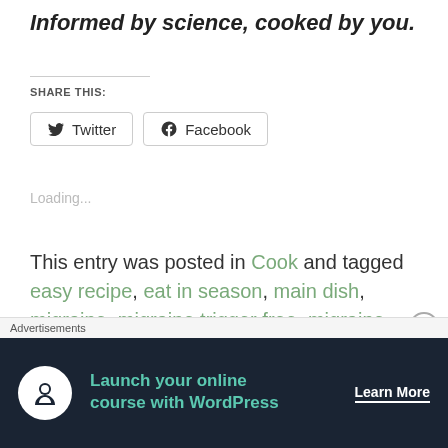Informed by science, cooked by you.
SHARE THIS:
[Figure (other): Twitter and Facebook share buttons]
Loading...
This entry was posted in Cook and tagged easy recipe, eat in season, main dish, migraine, migraine trigger free, migraine warrior, preservative free, recipe, roasted vegetables, soup
Advertisements
[Figure (other): Advertisement banner: Launch your online course with WordPress — Learn More]